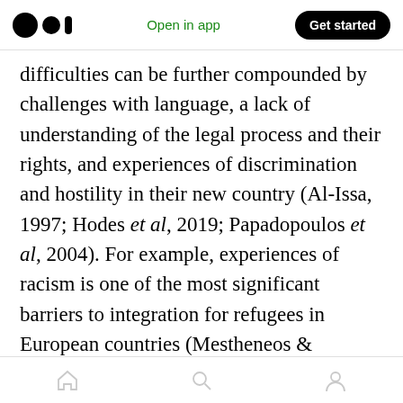Open in app | Get started
difficulties can be further compounded by challenges with language, a lack of understanding of the legal process and their rights, and experiences of discrimination and hostility in their new country (Al-Issa, 1997; Hodes et al, 2019; Papadopoulos et al, 2004). For example, experiences of racism is one of the most significant barriers to integration for refugees in European countries (Mestheneos & Ioannici, 2002; Stuber et al, 2008). Moreover, stressors such as housing instability and worries about the asylum process can cause distractions and reduce motivation in education and employment
Home | Search | Profile